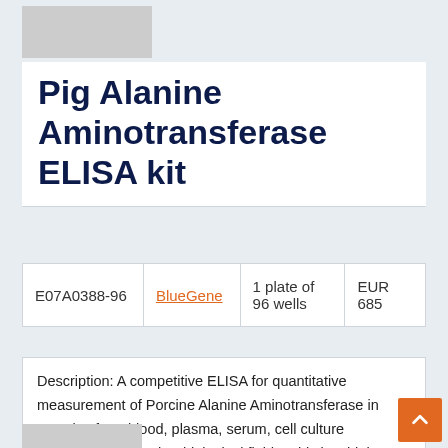[Figure (logo): Gray placeholder logo rectangle in top left]
Pig Alanine Aminotransferase ELISA kit
| E07A0388-96 | BlueGene | 1 plate of 96 wells | EUR 685 |
| --- | --- | --- | --- |
Description: A competitive ELISA for quantitative measurement of Porcine Alanine Aminotransferase in samples from blood, plasma, serum, cell culture supernatant and other biological fluids. This is a high quality ELISA kit developped for optimal performance with samples from the particular species.
[Figure (other): Gray placeholder rectangle at bottom left]